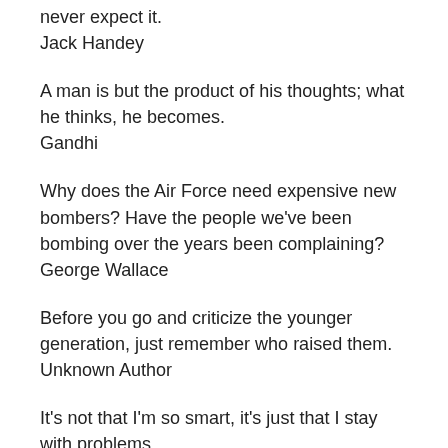never expect it.
Jack Handey
A man is but the product of his thoughts; what he thinks, he becomes.
Gandhi
Why does the Air Force need expensive new bombers? Have the people we've been bombing over the years been complaining?
George Wallace
Before you go and criticize the younger generation, just remember who raised them.
Unknown Author
It's not that I'm so smart, it's just that I stay with problems